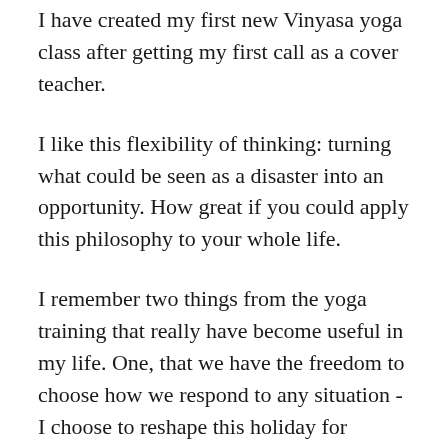I have created my first new Vinyasa yoga class after getting my first call as a cover teacher.
I like this flexibility of thinking: turning what could be seen as a disaster into an opportunity. How great if you could apply this philosophy to your whole life.
I remember two things from the yoga training that really have become useful in my life. One, that we have the freedom to choose how we respond to any situation -I choose to reshape this holiday for myself into a restorative one. Two, that to avoid stress and anxiety we should simply do what needs to be done and get on with it. The simplicity of this last statement blows my mind. Just do what needs to be done: in my case, stop walking, take care of my open wound, hire a horse and enjoy the moment in this incredible landscape.